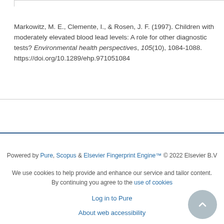Markowitz, M. E., Clemente, I., & Rosen, J. F. (1997). Children with moderately elevated blood lead levels: A role for other diagnostic tests? Environmental health perspectives, 105(10), 1084-1088. https://doi.org/10.1289/ehp.971051084
Powered by Pure, Scopus & Elsevier Fingerprint Engine™ © 2022 Elsevier B.V
We use cookies to help provide and enhance our service and tailor content. By continuing you agree to the use of cookies
Log in to Pure
About web accessibility